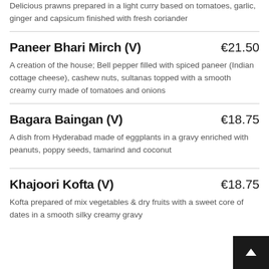Delicious prawns prepared in a light curry based on tomatoes, garlic, ginger and capsicum finished with fresh coriander
Paneer Bhari Mirch (V)
€21.50
A creation of the house; Bell pepper filled with spiced paneer (Indian cottage cheese), cashew nuts, sultanas topped with a smooth creamy curry made of tomatoes and onions
Bagara Baingan (V)
€18.75
A dish from Hyderabad made of eggplants in a gravy enriched with peanuts, poppy seeds, tamarind and coconut
Khajoori Kofta (V)
€18.75
Kofta prepared of mix vegetables & dry fruits with a sweet core of dates in a smooth silky creamy gravy